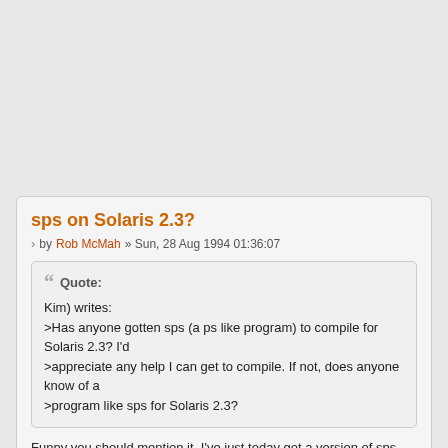sps on Solaris 2.3?
by Rob McMah » Sun, 28 Aug 1994 01:36:07
Quote:
Kim) writes:
>Has anyone gotten sps (a ps like program) to compile for Solaris 2.3?  I'd
>appreciate any help I can get to compile.  If not, does anyone know of a
>program like sps for Solaris 2.3?
Funny you should mention it, I've just today got a version of sps working on Solaris 2.  It doesn't try to interpret wait channels ... I think I'm going to